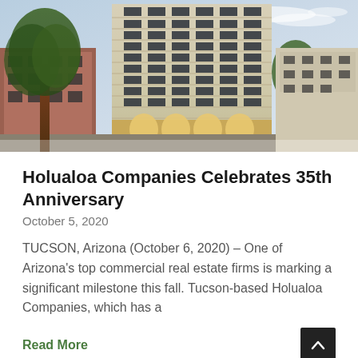[Figure (photo): Exterior photo of a tall multi-story commercial building (Holualoa Companies building) at dusk/evening in Tucson, Arizona. The building has a light beige/cream facade with many windows. Trees are visible in the foreground and other buildings in the background.]
Holualoa Companies Celebrates 35th Anniversary
October 5, 2020
TUCSON, Arizona (October 6, 2020) – One of Arizona's top commercial real estate firms is marking a significant milestone this fall. Tucson-based Holualoa Companies, which has a
Read More